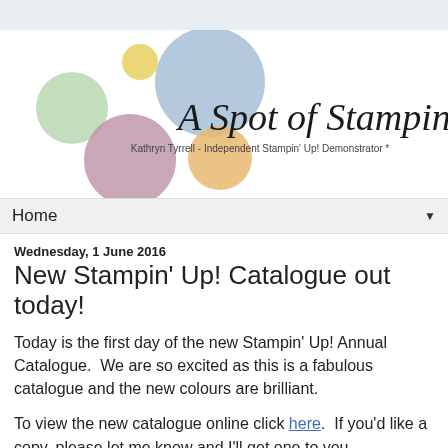[Figure (logo): A Spot of Stamping blog logo with colorful circles (blue, yellow, green, mauve, orange) and italic serif text 'A Spot of Stamping' with subtitle 'Kathryn Tyrrell - Independent Stampin' Up! Demonstrator *']
Home ▼
Wednesday, 1 June 2016
New Stampin' Up! Catalogue out today!
Today is the first day of the new Stampin' Up! Annual Catalogue.  We are so excited as this is a fabulous catalogue and the new colours are brilliant.
To view the new catalogue online click here.  If you'd like a copy, please let me know and I'll get one to you.